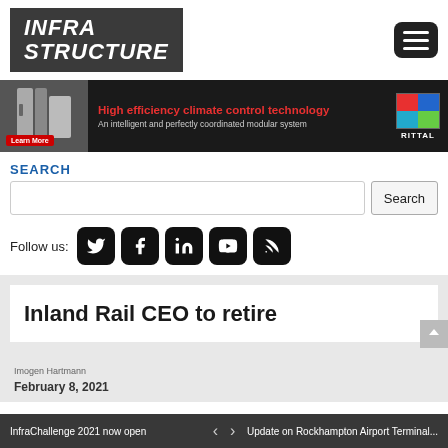INFRA STRUCTURE
[Figure (infographic): Advertisement banner for Rittal: High efficiency climate control technology. An intelligent and perfectly coordinated modular system. Learn More button.]
SEARCH
Follow us:
Inland Rail CEO to retire
Imogen Hartmann
February 8, 2021
InfraChallenge 2021 now open   <   >   Update on Rockhampton Airport Terminal...